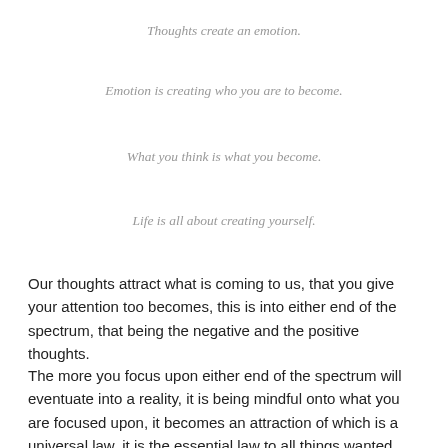Thoughts create an emotion.
Emotion is creating who you are to become.
What you think is what you become.
Life is all about creating yourself.
Our thoughts attract what is coming to us, that you give your attention too becomes, this is into either end of the spectrum, that being the negative and the positive thoughts.
The more you focus upon either end of the spectrum will eventuate into a reality, it is being mindful onto what you are focused upon, it becomes an attraction of which is a universal law, it is the essential law to all things wanted and